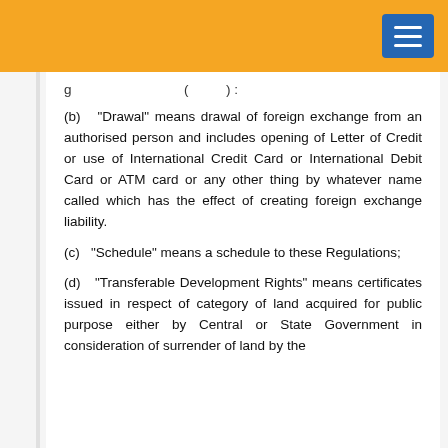(b) "Drawal" means drawal of foreign exchange from an authorised person and includes opening of Letter of Credit or use of International Credit Card or International Debit Card or ATM card or any other thing by whatever name called which has the effect of creating foreign exchange liability.
(c) "Schedule" means a schedule to these Regulations;
(d) "Transferable Development Rights" means certificates issued in respect of category of land acquired for public purpose either by Central or State Government in consideration of surrender of land by the